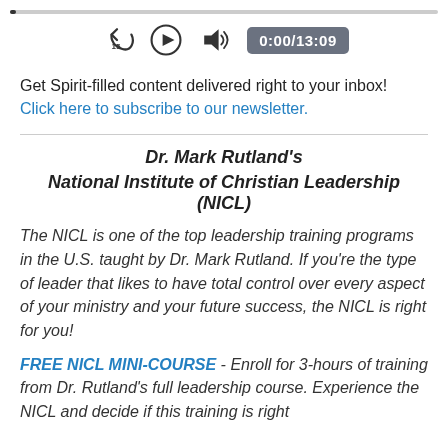[Figure (screenshot): Audio player controls showing a progress bar at top, replay-15 button, play button, volume button, and time display showing 0:00/13:09]
Get Spirit-filled content delivered right to your inbox! Click here to subscribe to our newsletter.
Dr. Mark Rutland's
National Institute of Christian Leadership (NICL)
The NICL is one of the top leadership training programs in the U.S. taught by Dr. Mark Rutland. If you're the type of leader that likes to have total control over every aspect of your ministry and your future success, the NICL is right for you!
FREE NICL MINI-COURSE - Enroll for 3-hours of training from Dr. Rutland's full leadership course. Experience the NICL and decide if this training is right for you and your team.